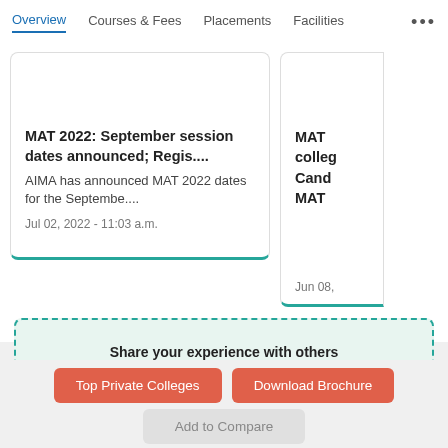Overview | Courses & Fees | Placements | Facilities | ...
MAT 2022: September session dates announced; Regis....
AIMA has announced MAT 2022 dates for the Septembe....
Jul 02, 2022 - 11:03 a.m.
MAT ...
colle...
Cand...
MAT ...
Jun 08...
Share your experience with others
Write a Review
Top Private Colleges
Download Brochure
Add to Compare